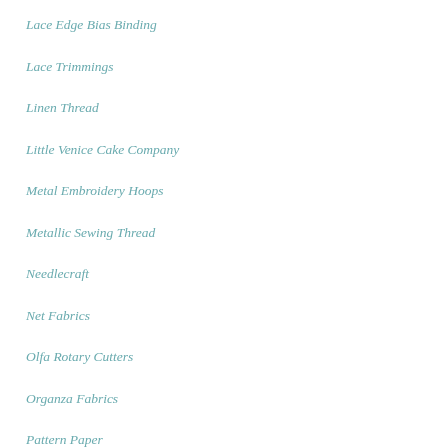Lace Edge Bias Binding
Lace Trimmings
Linen Thread
Little Venice Cake Company
Metal Embroidery Hoops
Metallic Sewing Thread
Needlecraft
Net Fabrics
Olfa Rotary Cutters
Organza Fabrics
Pattern Paper
Pin Cushions